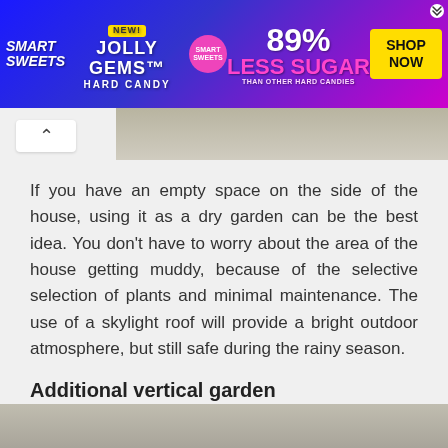[Figure (photo): Smart Sweets Jolly Gems Hard Candy advertisement banner. Blue and pink gradient background with candy imagery, '89% LESS SUGAR THAN OTHER HARD CANDIES' text and yellow SHOP NOW button.]
[Figure (photo): Partial image strip showing a garden scene, cropped at top.]
If you have an empty space on the side of the house, using it as a dry garden can be the best idea. You don't have to worry about the area of the house getting muddy, because of the selective selection of plants and minimal maintenance. The use of a skylight roof will provide a bright outdoor atmosphere, but still safe during the rainy season.
Additional vertical garden
[Figure (photo): Bottom partial image showing a vertical garden scene.]